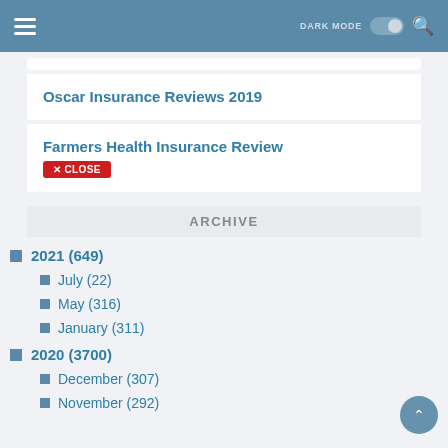DARK MODE [toggle] [search]
Oscar Insurance Reviews 2019
Farmers Health Insurance Review
ARCHIVE
2021 (649)
July (22)
May (316)
January (311)
2020 (3700)
December (307)
November (292)